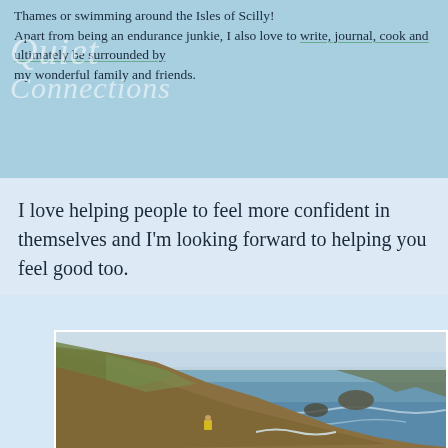Thames or swimming around the Isles of Scilly! Apart from being an endurance junkie, I also love to write, journal, cook and ultimately be surrounded by my wonderful family and friends.
Quiet Connections
I love helping people to feel more confident in themselves and I'm looking forward to helping you feel good too.
[Figure (photo): Coastal landscape photograph showing a hiker on a rugged cliff path above the ocean, with rocky headlands, brownish-green hillside vegetation, and blue-grey sea in the background under a hazy sky.]